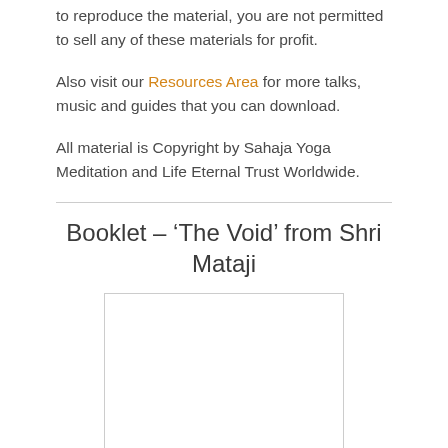to reproduce the material, you are not permitted to sell any of these materials for profit.
Also visit our Resources Area for more talks, music and guides that you can download.
All material is Copyright by Sahaja Yoga Meditation and Life Eternal Trust Worldwide.
Booklet – ‘The Void’ from Shri Mataji
[Figure (other): Blank white image placeholder with light border]